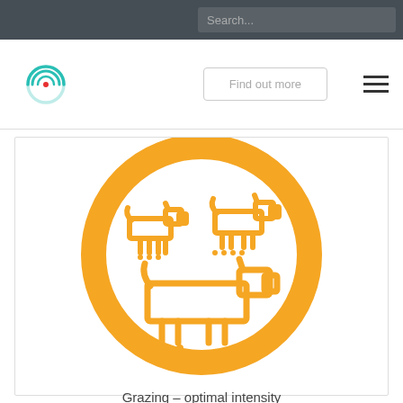Search...
[Figure (logo): Circular logo with concentric arcs in teal/cyan and a red dot in the center]
Find out more
[Figure (illustration): Orange circle icon containing stylized line-art cattle/grazing animals in orange on white background]
Grazing – optimal intensity